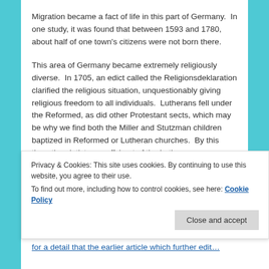Migration became a fact of life in this part of Germany.  In one study, it was found that between 1593 and 1780, about half of one town's citizens were not born there.
This area of Germany became extremely religiously diverse.  In 1705, an edict called the Religionsdeklaration clarified the religious situation, unquestionably giving religious freedom to all individuals.  Lutherans fell under the Reformed, as did other Protestant sects, which may be why we find both the Miller and Stutzman children baptized in Reformed or Lutheran churches.  By this time, the pietists, an offshoot of the Lutherans, were calling for a more inward-looking and emotional faith than the [cut off]
Privacy & Cookies: This site uses cookies. By continuing to use this website, you agree to their use.
To find out more, including how to control cookies, see here: Cookie Policy
Close and accept